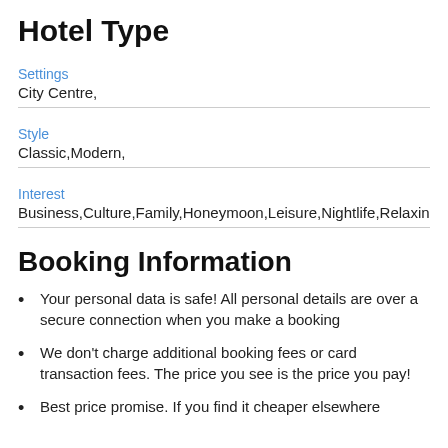Hotel Type
Settings
City Centre,
Style
Classic,Modern,
Interest
Business,Culture,Family,Honeymoon,Leisure,Nightlife,Relaxing,Ro
Booking Information
Your personal data is safe! All personal details are over a secure connection when you make a booking
We don't charge additional booking fees or card transaction fees. The price you see is the price you pay!
Best price promise. If you find it cheaper elsewhere